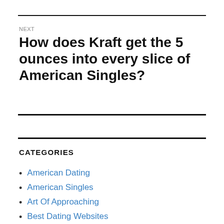NEXT
How does Kraft get the 5 ounces into every slice of American Singles?
CATEGORIES
American Dating
American Singles
Art Of Approaching
Best Dating Websites